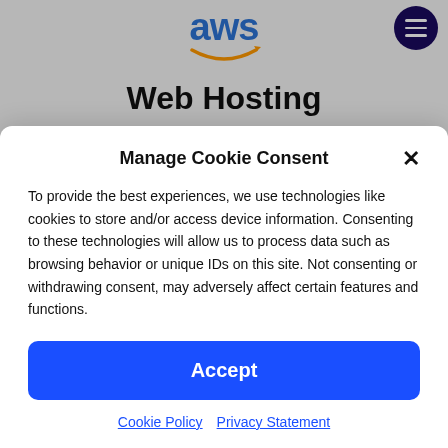[Figure (logo): AWS logo in blue with smile/arrow graphic]
Web Hosting
We've worked hard to evolve cloud hosting infrastructures and engineered them for our Lubbock clients. Our
Manage Cookie Consent
To provide the best experiences, we use technologies like cookies to store and/or access device information. Consenting to these technologies will allow us to process data such as browsing behavior or unique IDs on this site. Not consenting or withdrawing consent, may adversely affect certain features and functions.
Accept
Cookie Policy  Privacy Statement